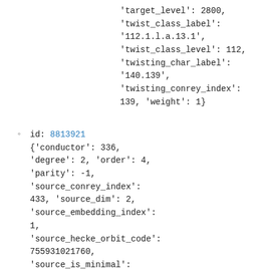'target_level': 2800, 'twist_class_label': '112.1.l.a.13.1', 'twist_class_level': 112, 'twisting_char_label': '140.139', 'twisting_conrey_index': 139, 'weight': 1}
id: 8813921 {'conductor': 336, 'degree': 2, 'order': 4, 'parity': -1, 'source_conrey_index': 433, 'source_dim': 2, 'source_embedding_index': 1, 'source_hecke_orbit_code': 755931021760, 'source_is_minimal': False, 'source_label':